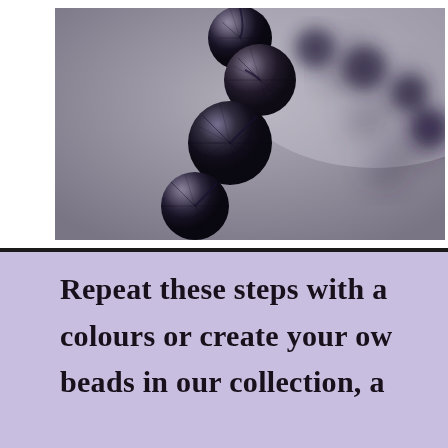[Figure (photo): Close-up photograph of dark navy/black faceted beads strung together forming a necklace or bracelet. The beads are glossy and appear to be made of glass or gemstone, with some blurred beads in the background. The image has a white border/frame on the left and bottom.]
Repeat these steps with a colours or create your ow beads in our collection, a